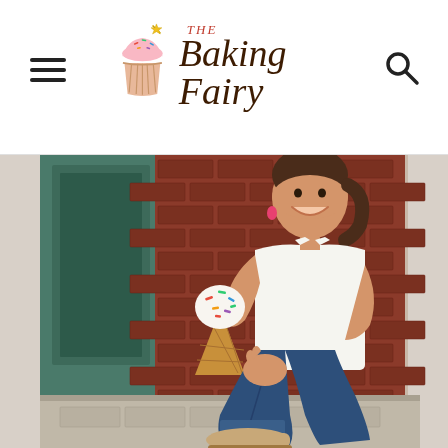The Baking Fairy — website header with logo, hamburger menu, and search icon
[Figure (photo): A smiling young woman with brown hair sitting on steps against a brick wall, wearing a white tank top and dark jeans, holding an ice cream cone with colorful sprinkles. She is wearing pink earrings and tan mule shoes.]